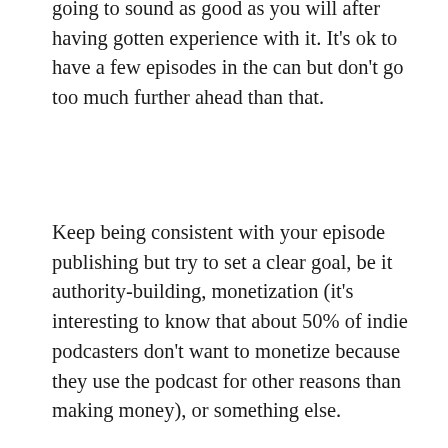going to sound as good as you will after having gotten experience with it. It's ok to have a few episodes in the can but don't go too much further ahead than that.
Keep being consistent with your episode publishing but try to set a clear goal, be it authority-building, monetization (it's interesting to know that about 50% of indie podcasters don't want to monetize because they use the podcast for other reasons than making money), or something else.